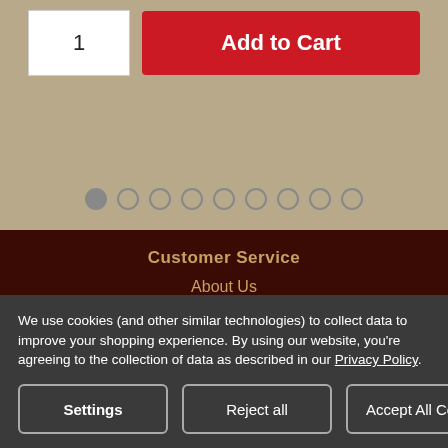[Figure (screenshot): E-commerce product page fragment showing quantity selector with value 1 and red Add to Cart button]
[Figure (other): Carousel pagination dots, first dot filled/active, 8 empty dots following]
Customer Service
About Us
Contact Us
Become a Dealer
Blank Gun Safety Warning
We use cookies (and other similar technologies) to collect data to improve your shopping experience. By using our website, you're agreeing to the collection of data as described in our Privacy Policy.
Settings
Reject all
Accept All Cookies